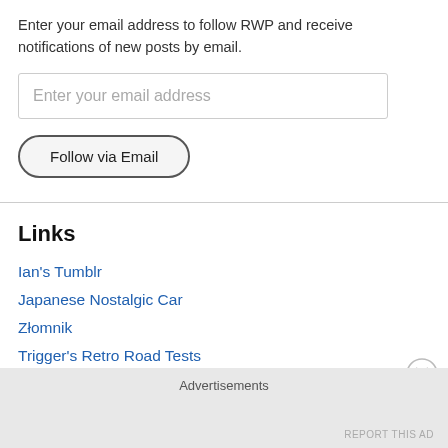Enter your email address to follow RWP and receive notifications of new posts by email.
Enter your email address
Follow via Email
Links
Ian's Tumblr
Japanese Nostalgic Car
Złomnik
Trigger's Retro Road Tests
Hemmings Blog
Wasabi Cars
Advertisements
REPORT THIS AD